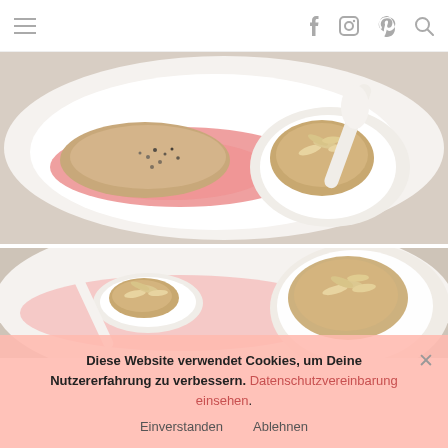Navigation header with hamburger menu and social icons (f, camera, pinterest, search)
[Figure (photo): Close-up food photo: a white plate with a pink/red sauce and a small white bowl containing a beige/tan porridge or pudding topped with sliced almonds and chia seeds]
[Figure (photo): Partial food photo: a white plate with pink sauce and a white spoon holding a beige pudding/porridge topped with sliced almonds]
Diese Website verwendet Cookies, um Deine Nutzererfahrung zu verbessern. Datenschutzvereinbarung einsehen.
Einverstanden   Ablehnen